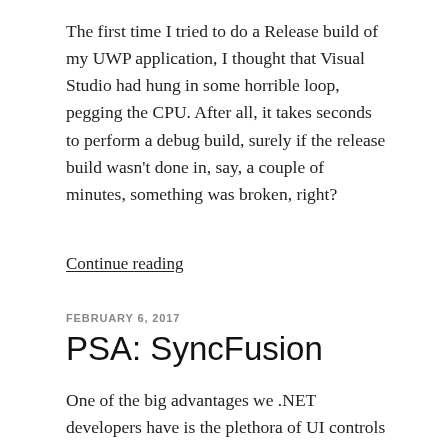The first time I tried to do a Release build of my UWP application, I thought that Visual Studio had hung in some horrible loop, pegging the CPU. After all, it takes seconds to perform a debug build, surely if the release build wasn't done in, say, a couple of minutes, something was broken, right?
Continue reading
FEBRUARY 6, 2017
PSA: SyncFusion
One of the big advantages we .NET developers have is the plethora of UI controls that are available to us. Granted that it seems that these controls, in general, rarely do everything we need them to, but most provide extensibility through XAML templates and styles and